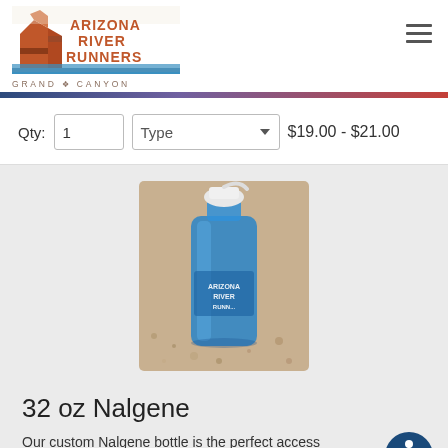[Figure (logo): Arizona River Runners Grand Canyon logo with canyon illustration and water]
Qty: 1   Type   $19.00 - $21.00
[Figure (photo): Blue 32 oz Nalgene water bottle with Arizona River Runners branding sitting on sandy/gravel ground]
32 oz Nalgene
Our custom Nalgene bottle is the perfect access for your river trip or on any of life's adventures